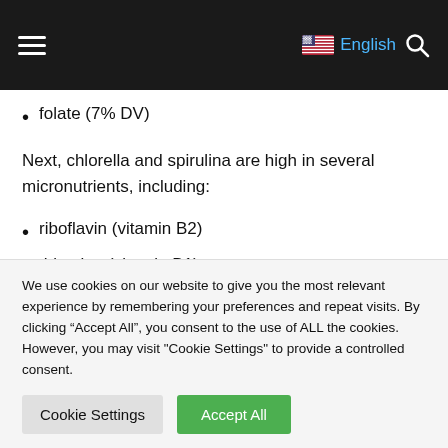English
folate (7% DV)
Next, chlorella and spirulina are high in several micronutrients, including:
riboflavin (vitamin B2)
thiamine (vitamin B1)
iron
We use cookies on our website to give you the most relevant experience by remembering your preferences and repeat visits. By clicking “Accept All”, you consent to the use of ALL the cookies. However, you may visit "Cookie Settings" to provide a controlled consent.